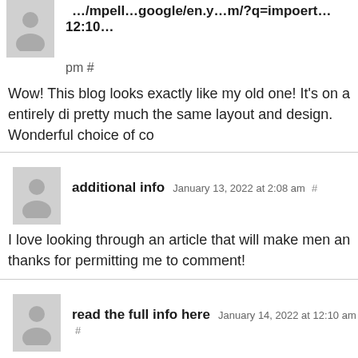…/mpell…google/en.y…m/?q=impoert12:10…pm #
Wow! This blog looks exactly like my old one! It's on a entirely di pretty much the same layout and design. Wonderful choice of co
additional info January 13, 2022 at 2:08 am #
I love looking through an article that will make men an thanks for permitting me to comment!
read the full info here January 14, 2022 at 12:10 am #
There's certainly a lot to find out about this issue. I love made.